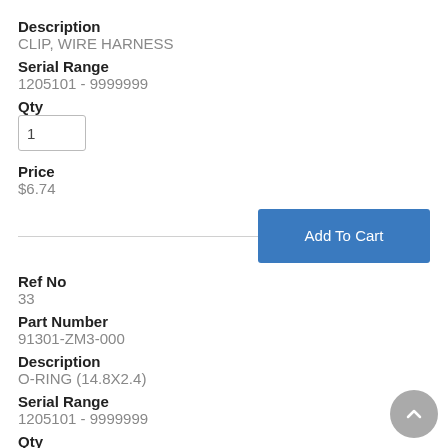Description
CLIP, WIRE HARNESS
Serial Range
1205101 - 9999999
Qty
1
Price
$6.74
Ref No
33
Part Number
91301-ZM3-000
Description
O-RING (14.8X2.4)
Serial Range
1205101 - 9999999
Qty